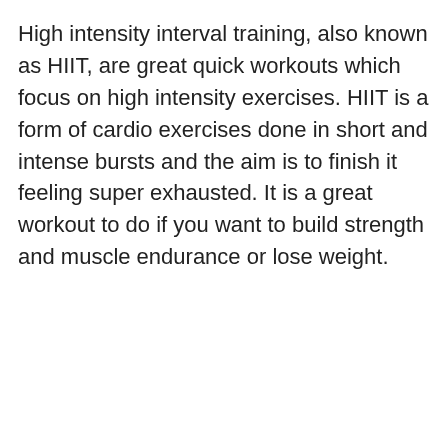High intensity interval training, also known as HIIT, are great quick workouts which focus on high intensity exercises. HIIT is a form of cardio exercises done in short and intense bursts and the aim is to finish it feeling super exhausted. It is a great workout to do if you want to build strength and muscle endurance or lose weight.